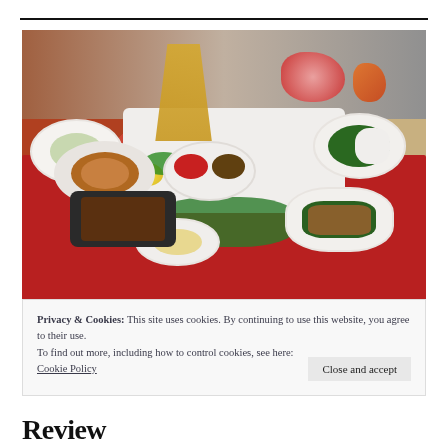[Figure (photo): Overhead view of a table spread with multiple Thai/Asian dishes including a bowl of stew/curry, sizzling plate, fish dish, rice dish, noodle dish, soup, and decorative food carvings with flowers and noodle bundles on a red tablecloth.]
Privacy & Cookies: This site uses cookies. By continuing to use this website, you agree to their use.
To find out more, including how to control cookies, see here:
Cookie Policy
Close and accept
Review